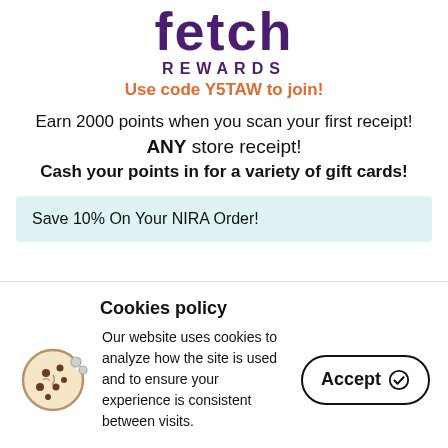[Figure (logo): Fetch Rewards logo with stylized 'fetch' text in dark purple, 'REWARDS' in small caps below]
Use code Y5TAW to join!
Earn 2000 points when you scan your first receipt!
ANY store receipt!
Cash your points in for a variety of gift cards!
Save 10% On Your NIRA Order!
Cookies policy
Our website uses cookies to analyze how the site is used and to ensure your experience is consistent between visits.